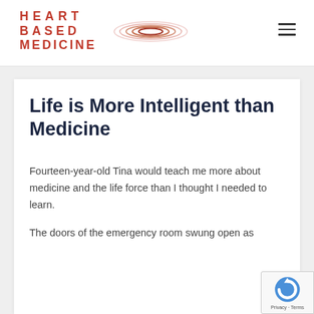[Figure (logo): Heart Based Medicine logo with red bold text 'HEART BASED MEDICINE' and concentric oval swoosh graphic in red/brown tones]
Life is More Intelligent than Medicine
Fourteen-year-old Tina would teach me more about medicine and the life force than I thought I needed to learn.
The doors of the emergency room swung open as